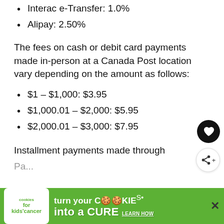Interac e-Transfer: 1.0%
Alipay: 2.50%
The fees on cash or debit card payments made in-person at a Canada Post location vary depending on the amount as follows:
$1 – $1,000: $3.95
$1,000.01 – $2,000: $5.95
$2,000.01 – $3,000: $7.95
Installment payments made through
[Figure (other): Cookies for Kids Cancer advertisement banner at the bottom of the page with green background, showing 'turn your COOKIES into a CURE LEARN HOW' text]